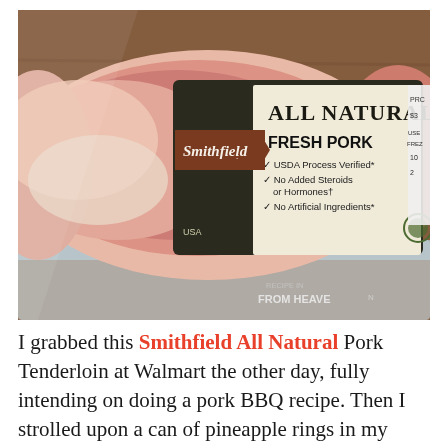[Figure (photo): A packaged Smithfield All Natural Fresh Pork Tenderloin in clear plastic wrap, showing the label with 'ALL NATURAL', 'FRESH PORK', 'USDA Process Verified', 'No Added Steroids or Hormones', 'No Artificial Ingredients', and the Smithfield brand logo on a brown banner. Watermark in bottom right reads 'FROM HEAVEN'.]
I grabbed this Smithfield All Natural Pork Tenderloin at Walmart the other day, fully intending on doing a pork BBQ recipe. Then I strolled upon a can of pineapple rings in my cabinet and thought,